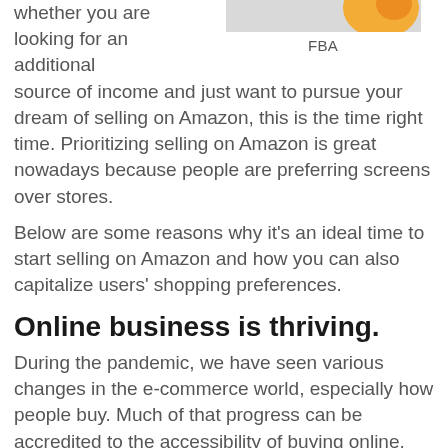whether you are looking for an additional source of income and just want to pursue your dream of selling on Amazon, this is the time right time. Prioritizing selling on Amazon is great nowadays because people are preferring screens over stores.
[Figure (photo): Partial image of Amazon FBA related graphic with orange element, labeled FBA below]
Below are some reasons why it’s an ideal time to start selling on Amazon and how you can also capitalize users’ shopping preferences.
Online business is thriving.
During the pandemic, we have seen various changes in the e-commerce world, especially how people buy. Much of that progress can be accredited to the accessibility of buying online.
Furthermore, these days you cannot overlook